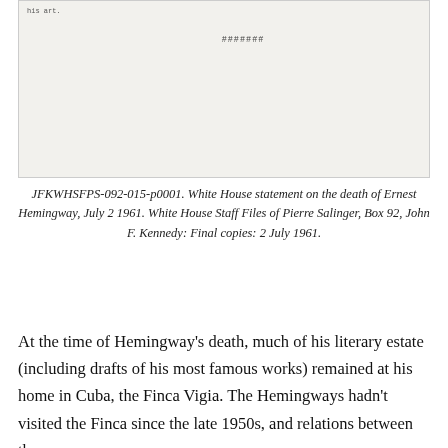[Figure (photo): Scanned document page image showing typed text beginning with 'his art.' and a centered line of asterisks '####### ' near the top of the document]
JFKWHSFPS-092-015-p0001. White House statement on the death of Ernest Hemingway, July 2 1961. White House Staff Files of Pierre Salinger, Box 92, John F. Kennedy: Final copies: 2 July 1961.
At the time of Hemingway’s death, much of his literary estate (including drafts of his most famous works) remained at his home in Cuba, the Finca Vigia. The Hemingways hadn’t visited the Finca since the late 1950s, and relations between the